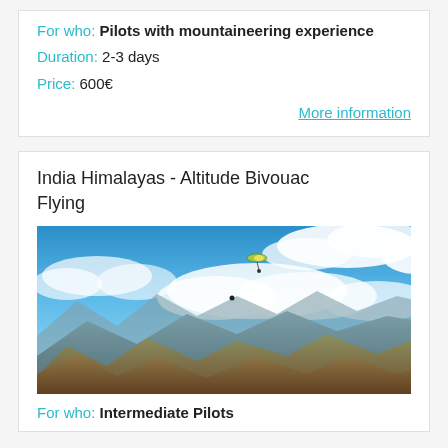For who:  Pilots with mountaineering experience
Duration:  2-3 days
Price:  600€
More information
India Himalayas - Altitude Bivouac Flying
[Figure (photo): Paraglider flying over the India Himalayas mountains with blue sky and clouds]
For who:  Intermediate Pilots